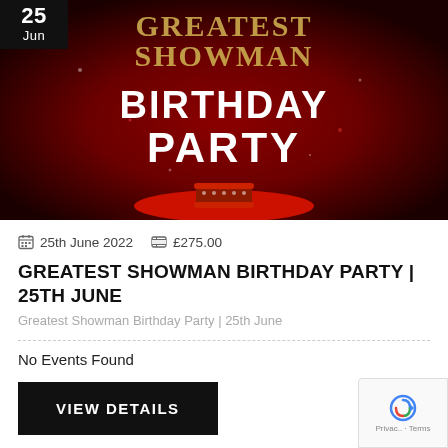[Figure (illustration): Greatest Showman Birthday Party promotional image with dark red background, gold text 'GREATEST SHOWMAN' at top, large white text 'BIRTHDAY PARTY' in center, and a circus-style drum on a red spotlight stage. Date badge showing '25 Jun' in black box at top left.]
25th June 2022  £275.00
GREATEST SHOWMAN BIRTHDAY PARTY | 25TH JUNE
Greatest Showman Birthday Party | 25th June
No Events Found
VIEW DETAILS